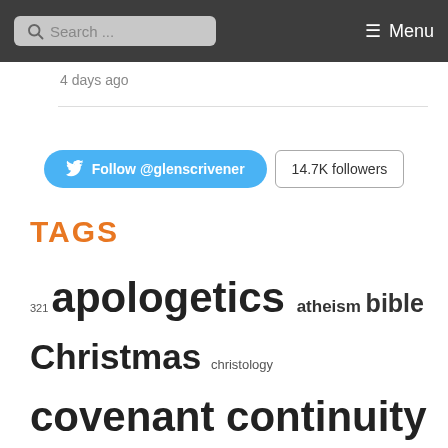Search ... Menu
4 days ago
[Figure (other): Twitter follow button section with Follow @glenscrivener and 14.7K followers]
TAGS
321 apologetics atheism bible Christmas christology covenant continuity creative Cross culture devotional Doctrine of God ethics evangelicalism evangelism Exodus faith gender gospel grace humourous marriage mediation of Christ ministry mission music My videos Old Testament other